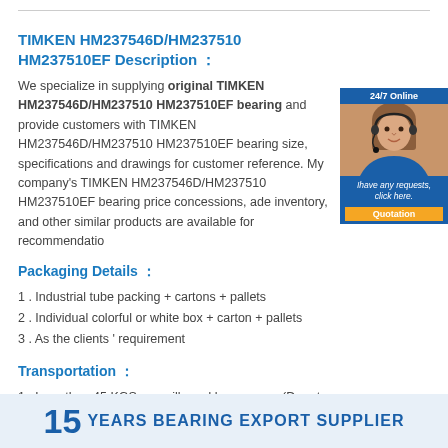TIMKEN HM237546D/HM237510 HM237510EF Description :
We specialize in supplying original TIMKEN HM237546D/HM237510 HM237510EF bearing and provide customers with TIMKEN HM237546D/HM237510 HM237510EF bearing size, specifications and drawings for customer reference. My company's TIMKEN HM237546D/HM237510 HM237510EF bearing price concessions, ade inventory, and other similar products are available for recommendatio
Packaging Details :
1 . Industrial tube packing + cartons + pallets
2 . Individual colorful or white box + carton + pallets
3 . As the clients ' requirement
Transportation :
1 . Less than 45 KGS, we will send by express. (Door to Door, Convenient)
2 . 45 - 200 KGS , we will send by air transport . (Fastest and safest, but expensive)
3 . More than 200 KGS, we will send by sea . ( Cheapest and common use )
[Figure (photo): Customer service representative photo with 24/7 Online label and Quotation button]
15 YEARS BEARING EXPORT SUPPLIER